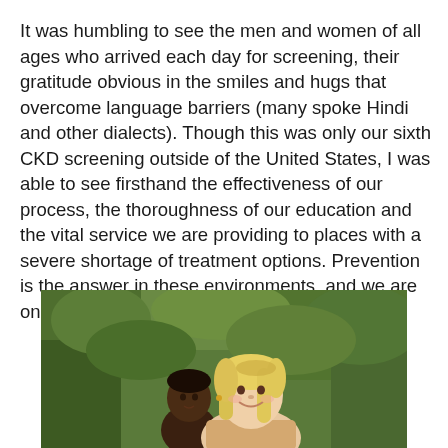It was humbling to see the men and women of all ages who arrived each day for screening, their gratitude obvious in the smiles and hugs that overcome language barriers (many spoke Hindi and other dialects). Though this was only our sixth CKD screening outside of the United States, I was able to see firsthand the effectiveness of our process, the thoroughness of our education and the vital service we are providing to places with a severe shortage of treatment options. Prevention is the answer in these environments, and we are on the frontlines in delivering it.
[Figure (photo): A smiling blonde woman posing with a darker-skinned child outdoors with green foliage in the background.]